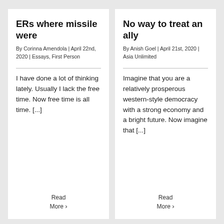ERs where missile were
By Corinna Amendola | April 22nd, 2020 | Essays, First Person
I have done a lot of thinking lately. Usually I lack the free time. Now free time is all time. [...]
Read More ›
No way to treat an ally
By Anish Goel | April 21st, 2020 | Asia Unlimited
Imagine that you are a relatively prosperous western-style democracy with a strong economy and a bright future. Now imagine that [...]
Read More ›